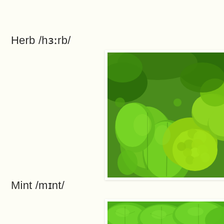Herb /hɜːrb/
[Figure (photo): A close-up photograph of various fresh green herbs including basil, parsley, and mint leaves arranged together]
Mint /mɪnt/
[Figure (photo): A close-up photograph of fresh mint leaves with vibrant green color]